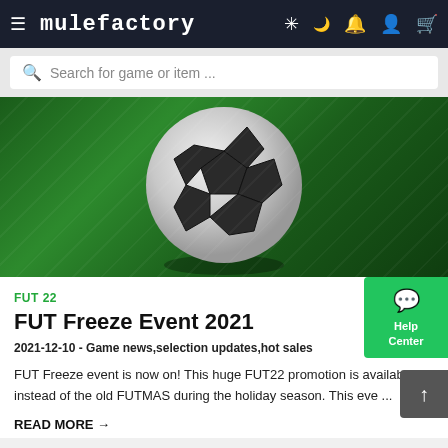MULEFACTORY — navigation bar with logo, search, alerts, account, cart icons
Search for game or item ...
[Figure (photo): 3D rendered soccer ball (black and white) on a dark green background with diagonal light streaks, resembling a football pitch]
FUT 22
FUT Freeze Event 2021
2021-12-10 - Game news,selection updates,hot sales
FUT Freeze event is now on! This huge FUT22 promotion is available instead of the old FUTMAS during the holiday season. This eve ...
READ MORE →